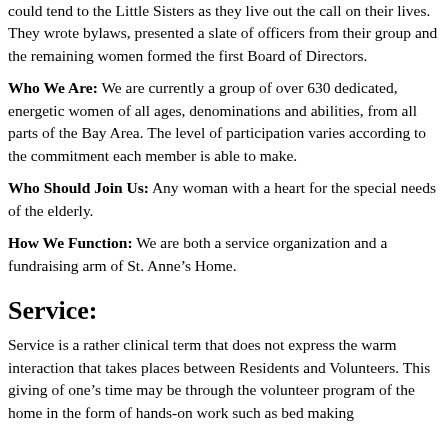could tend to the Little Sisters as they live out the call on their lives. They wrote bylaws, presented a slate of officers from their group and the remaining women formed the first Board of Directors.
Who We Are: We are currently a group of over 630 dedicated, energetic women of all ages, denominations and abilities, from all parts of the Bay Area. The level of participation varies according to the commitment each member is able to make.
Who Should Join Us: Any woman with a heart for the special needs of the elderly.
How We Function: We are both a service organization and a fundraising arm of St. Anne's Home.
Service:
Service is a rather clinical term that does not express the warm interaction that takes places between Residents and Volunteers. This giving of one's time may be through the volunteer program of the home in the form of hands-on work such as bed making